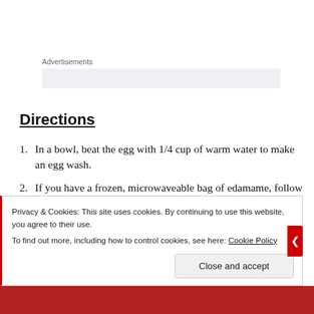Advertisements
Directions
In a bowl, beat the egg with 1/4 cup of warm water to make an egg wash.
If you have a frozen, microwaveable bag of edamame, follow the instructions on the bag.
Once steamed, boil the edamame in the milk and butter
Privacy & Cookies: This site uses cookies. By continuing to use this website, you agree to their use. To find out more, including how to control cookies, see here: Cookie Policy
Close and accept